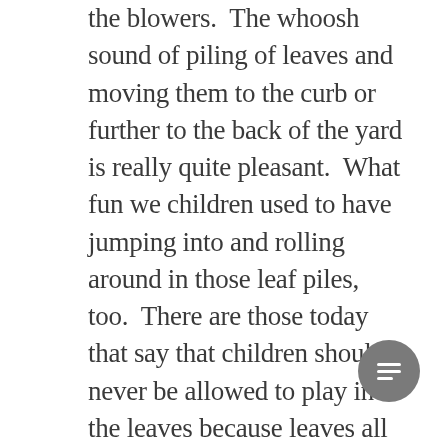the blowers.  The whoosh sound of piling of leaves and moving them to the curb or further to the back of the yard is really quite pleasant.  What fun we children used to have jumping into and rolling around in those leaf piles, too.  There are those today that say that children should never be allowed to play in the leaves because leaves all sorts of horrors from bacterias to moulds that "could" harm your child, especially if they have asthma.  They "could" also be the home of nasty parasites like ticks, or they "could" be hiding other dangers like stones, sharp sticks, mice, frogs, or other biting insects.  Really!!??  I'm not saying any of this is not possible, but I kno from personal experience that most of